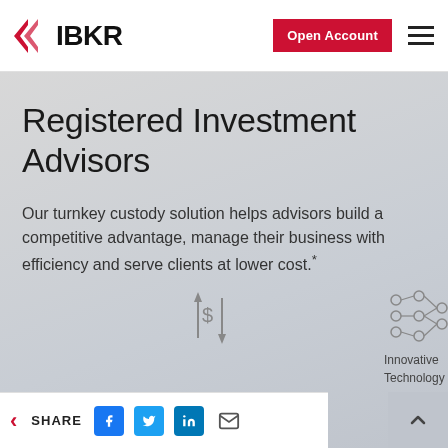IBKR — Open Account
Registered Investment Advisors
Our turnkey custody solution helps advisors build a competitive advantage, manage their business with efficiency and serve clients at lower cost.*
[Figure (illustration): Icon of dollar sign with arrows (lower cost concept)]
Innovative Technology
[Figure (illustration): Icon of connected nodes (innovative technology concept)]
SHARE